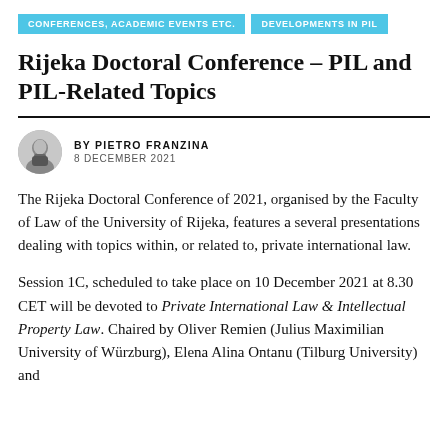CONFERENCES, ACADEMIC EVENTS ETC.  |  DEVELOPMENTS IN PIL
Rijeka Doctoral Conference – PIL and PIL-Related Topics
BY PIETRO FRANZINA
8 DECEMBER 2021
The Rijeka Doctoral Conference of 2021, organised by the Faculty of Law of the University of Rijeka, features a several presentations dealing with topics within, or related to, private international law.
Session 1C, scheduled to take place on 10 December 2021 at 8.30 CET will be devoted to Private International Law & Intellectual Property Law. Chaired by Oliver Remien (Julius Maximilian University of Würzburg), Elena Alina Ontanu (Tilburg University) and